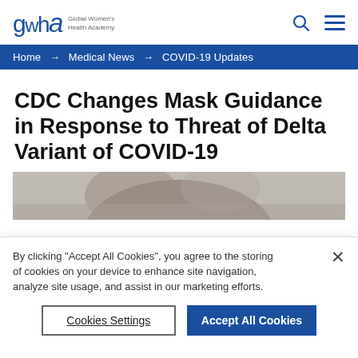gwha Global Women's Health Academy
Home → Medical News → COVID-19 Updates
CDC Changes Mask Guidance in Response to Threat of Delta Variant of COVID-19
[Figure (photo): Partial image of a person appearing to wear a mask, cropped at bottom of visible area]
By clicking "Accept All Cookies", you agree to the storing of cookies on your device to enhance site navigation, analyze site usage, and assist in our marketing efforts.
Cookies Settings | Accept All Cookies